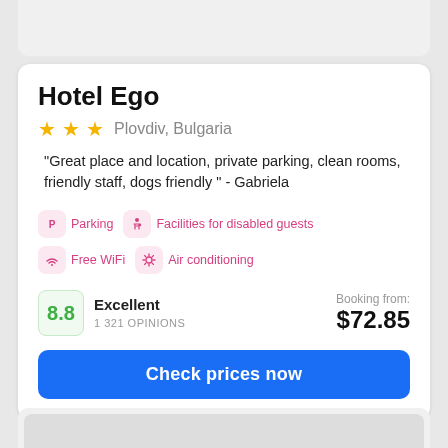Hotel Ego
★★★  Plovdiv, Bulgaria
"Great place and location, private parking, clean rooms, friendly staff, dogs friendly " - Gabriela
Parking
Facilities for disabled guests
Free WiFi
Air conditioning
8.8  Excellent  1 321 OPINIONS  Booking from: $72.85
Check prices now